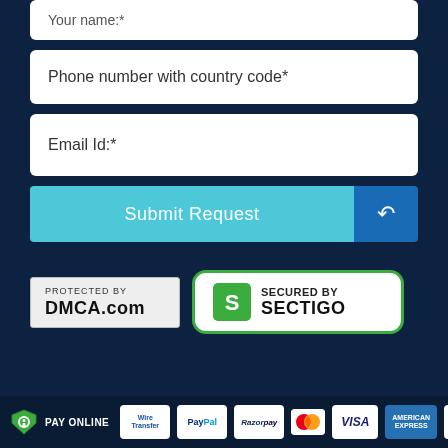Your name:*
Phone number with country code*
Email Id:*
Submit Request
[Figure (logo): PROTECTED BY DMCA.com badge]
[Figure (logo): SECURED BY SECTIGO badge with green S icon]
PAY ONLINE with payment card logos: Wire Transfer, PayPal, Razorpay, Mastercard, Visa, American Express, Discover, Maestro, JCB